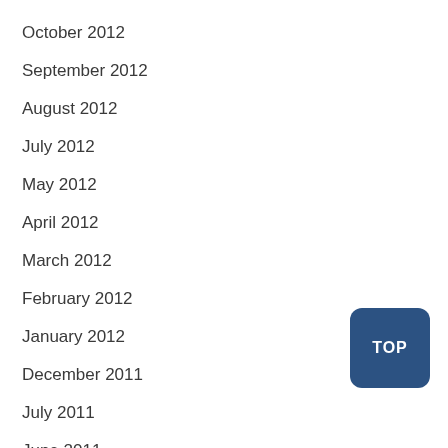October 2012
September 2012
August 2012
July 2012
May 2012
April 2012
March 2012
February 2012
January 2012
December 2011
July 2011
June 2011
May 2011